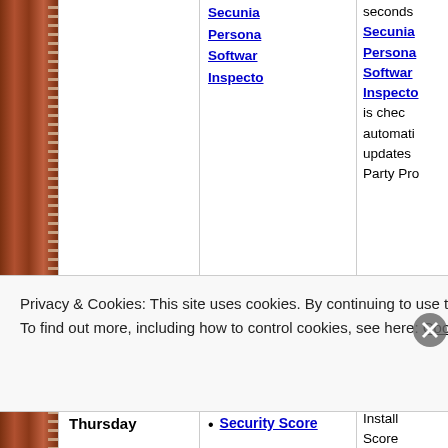| Day | Links | Description |
| --- | --- | --- |
|  | Secunia Personal Software Inspector | is checking automatically updates Party Pro... |
| Thursday | Security Score | Install Score helps know if you ALL necessary updates... |
Privacy & Cookies: This site uses cookies. By continuing to use this website, you agree to their use.
To find out more, including how to control cookies, see here: Cookie Policy
Close and accept